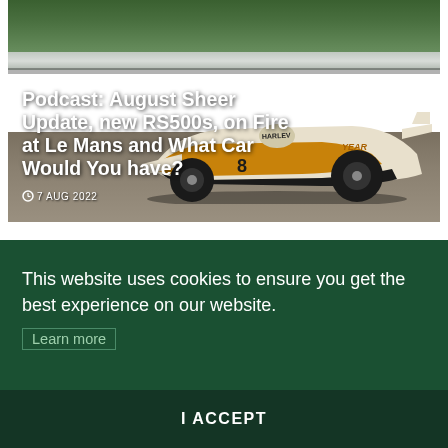[Figure (photo): A Formula 1 or similar open-wheel race car (white/cream with orange and black livery, GOODYEAR branding visible) on a track with a guardrail and green vegetation in the background.]
Podcast: August Sheer Update, new RS500s, on Fire at Le Mans and What Car Would You have?
7 AUG 2022
This website uses cookies to ensure you get the best experience on our website.
Learn more
I ACCEPT